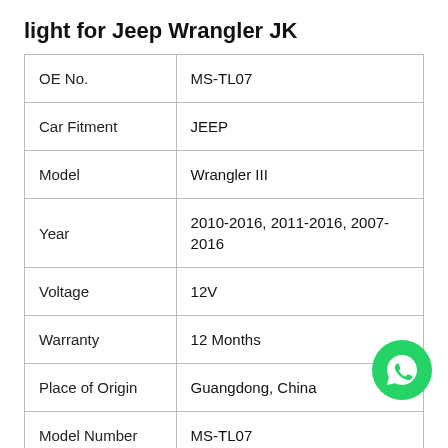light for Jeep Wrangler JK
|  |  |
| --- | --- |
| OE No. | MS-TL07 |
| Car Fitment | JEEP |
| Model | Wrangler III |
| Year | 2010-2016, 2011-2016, 2007-2016 |
| Voltage | 12V |
| Warranty | 12 Months |
| Place of Origin | Guangdong, China |
| Model Number | MS-TL07 |